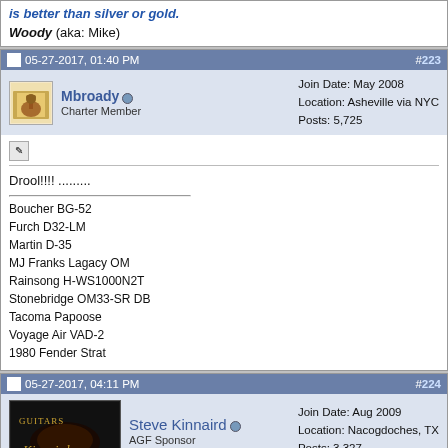is better than silver or gold.
Woody (aka: Mike)
05-27-2017, 01:40 PM  #223
Mbroady  Charter Member  Join Date: May 2008  Location: Asheville via NYC  Posts: 5,725
Drool!!!! .........
Boucher BG-52
Furch D32-LM
Martin D-35
MJ Franks Lagacy OM
Rainsong H-WS1000N2T
Stonebridge OM33-SR DB
Tacoma Papoose
Voyage Air VAD-2
1980 Fender Strat
05-27-2017, 04:11 PM  #224
Steve Kinnaird  AGF Sponsor  Join Date: Aug 2009  Location: Nacogdoches, TX  Posts: 3,327